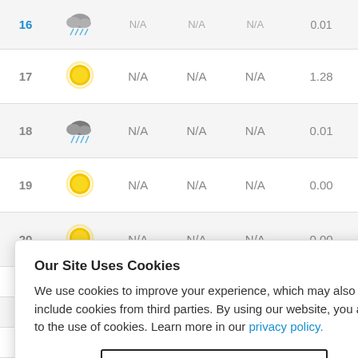| Day | Icon | Col1 | Col2 | Col3 | Value |
| --- | --- | --- | --- | --- | --- |
| 16 | (storm) | N/A | N/A | N/A | 0.01 (partial) |
| 17 | (sun) | N/A | N/A | N/A | 1.28 |
| 18 | (storm) | N/A | N/A | N/A | 0.01 |
| 19 | (sun) | N/A | N/A | N/A | 0.00 |
| 20 | (sun) | N/A | N/A | N/A | 0.00 |
| 21 |  | N/A | N/A | N/A | 0.00 |
| 22 |  | N/A | N/A | N/A | 0.00 |
| 23 |  | N/A | N/A | N/A | 0.00 |
| 24 |  | N/A | N/A | N/A | 0.37 |
Our Site Uses Cookies
We use cookies to improve your experience, which may also include cookies from third parties. By using our website, you agree to the use of cookies. Learn more in our privacy policy.
ACCEPT & CLOSE